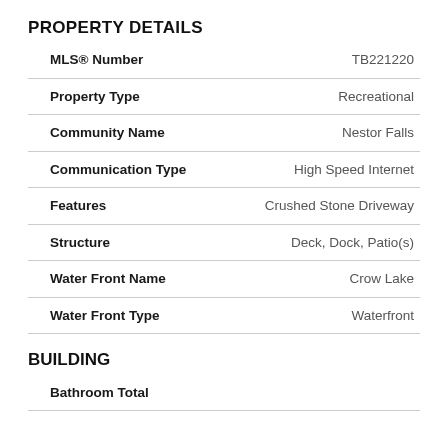PROPERTY DETAILS
| Field | Value |
| --- | --- |
| MLS® Number | TB221220 |
| Property Type | Recreational |
| Community Name | Nestor Falls |
| Communication Type | High Speed Internet |
| Features | Crushed Stone Driveway |
| Structure | Deck, Dock, Patio(s) |
| Water Front Name | Crow Lake |
| Water Front Type | Waterfront |
BUILDING
Bathroom Total